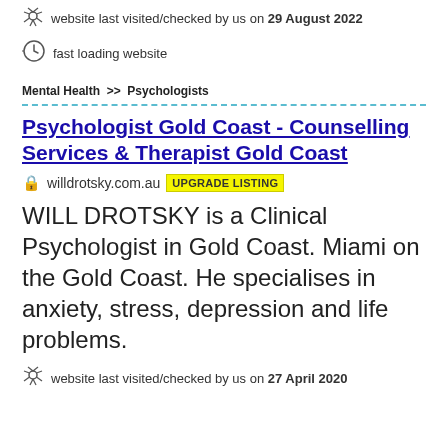website last visited/checked by us on 29 August 2022
fast loading website
Mental Health >> Psychologists
Psychologist Gold Coast - Counselling Services & Therapist Gold Coast
willdrotsky.com.au  UPGRADE LISTING
WILL DROTSKY is a Clinical Psychologist in Gold Coast. Miami on the Gold Coast. He specialises in anxiety, stress, depression and life problems.
website last visited/checked by us on 27 April 2020